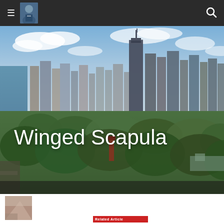Navigation header with hamburger menu, avatar photo, and search icon
[Figure (photo): Aerial photograph of Chicago skyline with tall skyscrapers, Lincoln Park, and Lake Michigan in the background under partly cloudy sky]
Winged Scapula
[Figure (photo): Partial thumbnail image visible at bottom left corner, pinkish-brown tones, cropped]